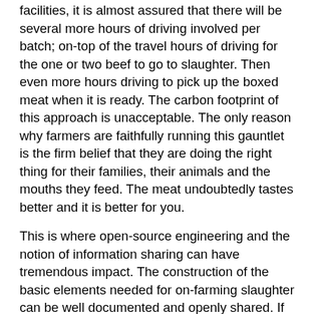facilities, it is almost assured that there will be several more hours of driving involved per batch; on-top of the travel hours of driving for the one or two beef to go to slaughter. Then even more hours driving to pick up the boxed meat when it is ready. The carbon footprint of this approach is unacceptable. The only reason why farmers are faithfully running this gauntlet is the firm belief that they are doing the right thing for their families, their animals and the mouths they feed. The meat undoubtedly tastes better and it is better for you.
This is where open-source engineering and the notion of information sharing can have tremendous impact. The construction of the basic elements needed for on-farming slaughter can be well documented and openly shared. If farmers had access to plans and “build-kits”, they could build or purchase one section of their facility at a time, minimizing upfront capital outlay and avoiding the hamstring effect of cobbling together poorly planned and